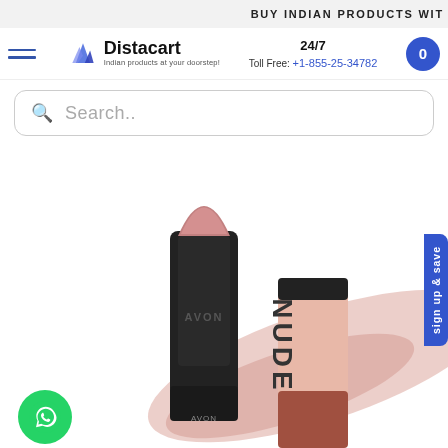BUY INDIAN PRODUCTS WIT
[Figure (logo): Distacart logo with shopping bag icon and tagline 'Indian products at your doorstep!']
24/7
Toll Free: +1-855-25-34782
Search..
[Figure (photo): Avon NUDE lipstick product photo showing an open lipstick in a rosy nude shade with text AVON on the bullet, alongside its closed cap packaging labeled NUDE with pink and brown packaging design, with a lipstick swatch in the background]
sign up & save